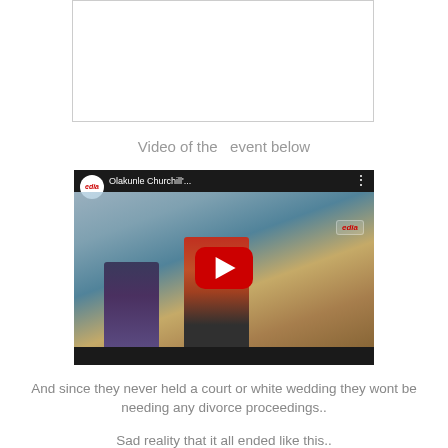[Figure (screenshot): White empty box with border at top of page]
Video of the  event below
[Figure (screenshot): YouTube video embed thumbnail showing two men, one in colorful red African attire reading a paper, with YouTube play button overlay. Video title bar shows Media logo and 'Olakunle Churchill']
And since they never held a court or white wedding they wont be needing any divorce proceedings..
Sad reality that it all ended like this..